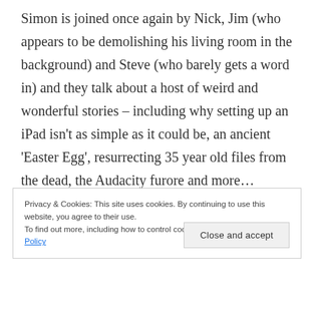Simon is joined once again by Nick, Jim (who appears to be demolishing his living room in the background) and Steve (who barely gets a word in) and they talk about a host of weird and wonderful stories – including why setting up an iPad isn't as simple as it could be, an ancient 'Easter Egg', resurrecting 35 year old files from the dead, the Audacity furore and more…
Privacy & Cookies: This site uses cookies. By continuing to use this website, you agree to their use. To find out more, including how to control cookies, see here: Cookie Policy
Close and accept